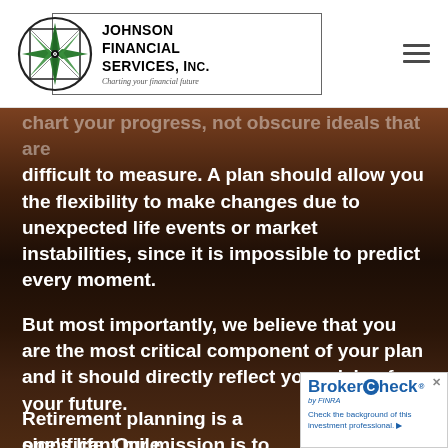Johnson Financial Services, Inc. — Charting your financial future
chart your progress, not obscure ideals that are difficult to measure. A plan should allow you the flexibility to make changes due to unexpected life events or market instabilities, since it is impossible to predict every moment.
But most importantly, we believe that you are the most critical component of your plan and it should directly reflect your vision for your future.
Retirement planning is a significant milestone in one's life. Our mission is to help make th…
[Figure (screenshot): BrokerCheck by FINRA widget overlay with text 'Check the background of this investment professional.']